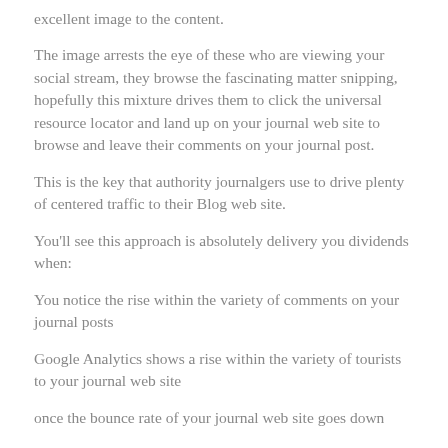excellent image to the content.
The image arrests the eye of these who are viewing your social stream, they browse the fascinating matter snipping, hopefully this mixture drives them to click the universal resource locator and land up on your journal web site to browse and leave their comments on your journal post.
This is the key that authority journalgers use to drive plenty of centered traffic to their Blog web site.
You'll see this approach is absolutely delivery you dividends when:
You notice the rise within the variety of comments on your journal posts
Google Analytics shows a rise within the variety of tourists to your journal web site
once the bounce rate of your journal web site goes down